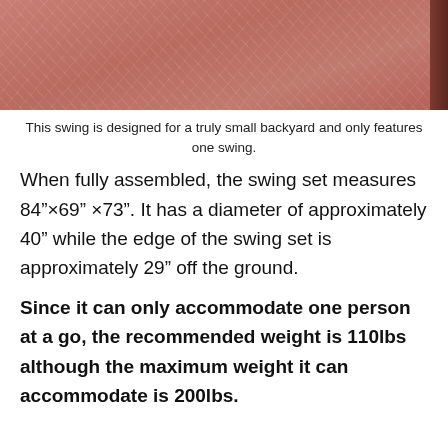[Figure (photo): Close-up photo of a reddish-pink textured surface (likely rubber or sand playground surface) with scattered light-colored fibers or debris, with a dark brown strip on the right edge.]
This swing is designed for a truly small backyard and only features one swing.
When fully assembled, the swing set measures 84”×69” ×73”. It has a diameter of approximately 40” while the edge of the swing set is approximately 29” off the ground.
Since it can only accommodate one person at a go, the recommended weight is 110lbs although the maximum weight it can accommodate is 200lbs.